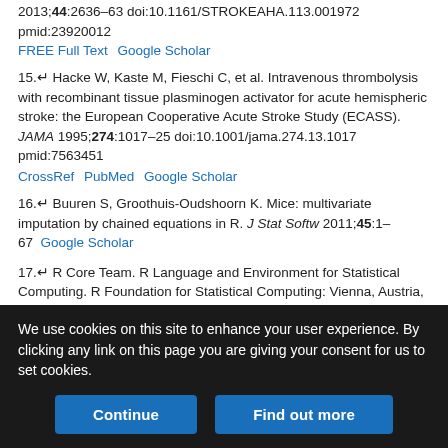2013;44:2636–63 doi:10.1161/STROKEAHA.113.001972 pmid:23920012
FREE Full Text   Google Scholar
15.↵ Hacke W, Kaste M, Fieschi C, et al. Intravenous thrombolysis with recombinant tissue plasminogen activator for acute hemispheric stroke: the European Cooperative Acute Stroke Study (ECASS). JAMA 1995;274:1017–25 doi:10.1001/jama.274.13.1017 pmid:7563451
CrossRef   PubMed   Google Scholar
16.↵ Buuren S, Groothuis-Oudshoorn K. Mice: multivariate imputation by chained equations in R. J Stat Softw 2011;45:1–67   Google Scholar
17.↵ R Core Team. R Language and Environment for Statistical Computing. R Foundation for Statistical Computing: Vienna, Austria, 2013. http://www.R-project.org   Google Scholar
18.↵ Rubin DB. Multiple Imputation for Nonresponse in Surveys. New York: Wiley, 1987.   Google Scholar
We use cookies on this site to enhance your user experience. By clicking any link on this page you are giving your consent for us to set cookies.
Continue   Find out more